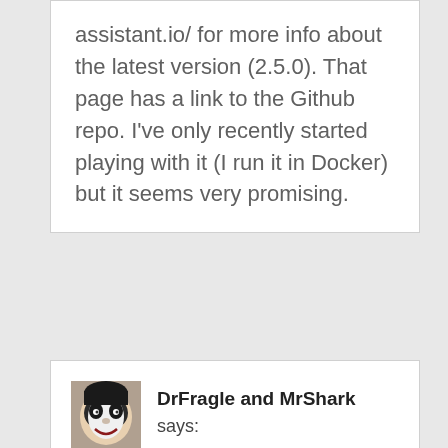assistant.io/ for more info about the latest version (2.5.0). That page has a link to the Github repo. I've only recently started playing with it (I run it in Docker) but it seems very promising.
DrFragle and MrShark says: